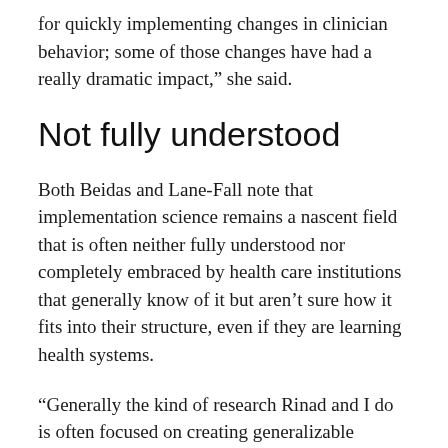for quickly implementing changes in clinician behavior; some of those changes have had a really dramatic impact,” she said.
Not fully understood
Both Beidas and Lane-Fall note that implementation science remains a nascent field that is often neither fully understood nor completely embraced by health care institutions that generally know of it but aren’t sure how it fits into their structure, even if they are learning health systems.
“Generally the kind of research Rinad and I do is often focused on creating generalizable knowledge and trying to move the overall field